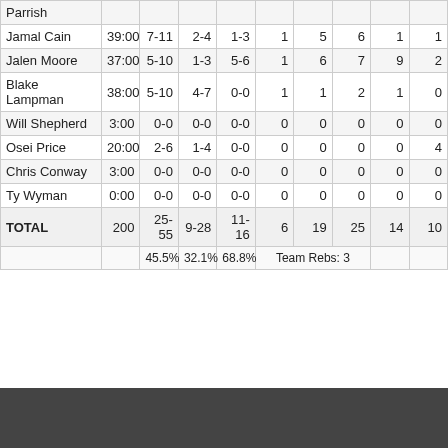| Player | MIN | FG | 3PT | FT | OREB | DREB | REB | AST | ... |
| --- | --- | --- | --- | --- | --- | --- | --- | --- | --- |
| Parrish |  |  |  |  |  |  |  |  |  |
| Jamal Cain | 39:00 | 7-11 | 2-4 | 1-3 | 1 | 5 | 6 | 1 | 1 |
| Jalen Moore | 37:00 | 5-10 | 1-3 | 5-6 | 1 | 6 | 7 | 9 | 2 |
| Blake Lampman | 38:00 | 5-10 | 4-7 | 0-0 | 1 | 1 | 2 | 1 | 0 |
| Will Shepherd | 3:00 | 0-0 | 0-0 | 0-0 | 0 | 0 | 0 | 0 | 0 |
| Osei Price | 20:00 | 2-6 | 1-4 | 0-0 | 0 | 0 | 0 | 0 | 4 |
| Chris Conway | 3:00 | 0-0 | 0-0 | 0-0 | 0 | 0 | 0 | 0 | 0 |
| Ty Wyman | 0:00 | 0-0 | 0-0 | 0-0 | 0 | 0 | 0 | 0 | 0 |
| TOTAL | 200 | 25-55 | 9-28 | 11-16 | 6 | 19 | 25 | 14 | 10 |
|  |  | 45.5% | 32.1% | 68.8% | Team Rebs: 3 |  |  |  |  |